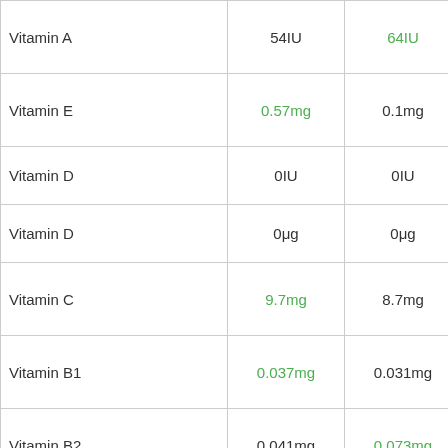|  | Col1 | Col2 |  |
| --- | --- | --- | --- |
| Vitamin A | 54IU | 64IU | [banana] |
| Vitamin E | 0.57mg | 0.1mg | [blueberries] |
| Vitamin D | 0IU | 0IU |  |
| Vitamin D | 0μg | 0μg |  |
| Vitamin C | 9.7mg | 8.7mg | [blueberries] |
| Vitamin B1 | 0.037mg | 0.031mg | [blueberries] |
| Vitamin B2 | 0.041mg | 0.073mg | [banana] |
| Vitamin B3 | 0.418mg | 0.665mg | [banana] |
| Vitamin B5 | 0.124mg | 0.334mg | [banana faded] |